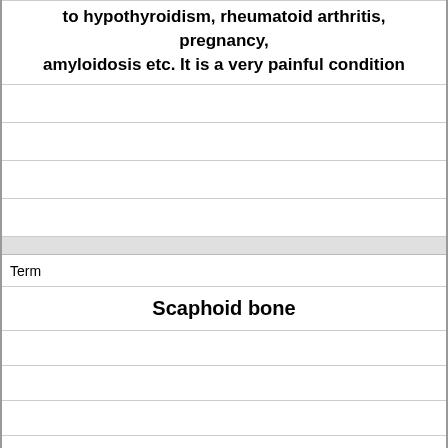| to hypothyroidism, rheumatoid arthritis, pregnancy, amyloidosis etc. It is a very painful condition |
|  |
|  |
|  |
|  |
|  |
| Term | Scaphoid bone |
|  |
|  |
|  |
|  |
|  |
| Definition | The most commonly fractured carpal bone |